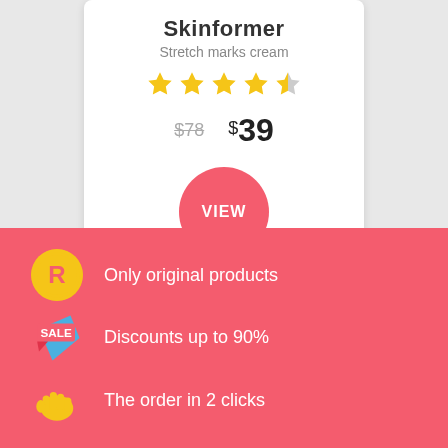Skinformer
Stretch marks cream
[Figure (other): 4.5 star rating with 4 full gold stars and 1 half gold/grey star]
$78 (strikethrough) $39
[Figure (other): Pink circular VIEW button]
Only original products
Discounts up to 90%
The order in 2 clicks